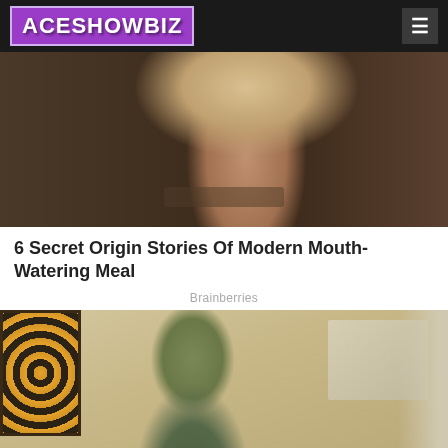ACESHOWBIZ
[Figure (photo): Person with dark hair eating a large burger at a restaurant table]
6 Secret Origin Stories Of Modern Mouth-Watering Meal
Brainberries
[Figure (photo): Woman in a green deep-V dress standing in a room with decorative windows]